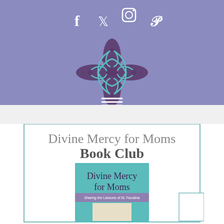[Figure (screenshot): Website header with purple/lavender background showing social media icons (Facebook, Twitter, Instagram, Pinterest) in white, a decorative cross/knot logo in teal and purple, and a hamburger menu icon in white]
[Figure (illustration): Book club promotional card with teal border showing 'Divine Mercy for Moms Book Club' text and a book cover image of 'Divine Mercy for Moms']